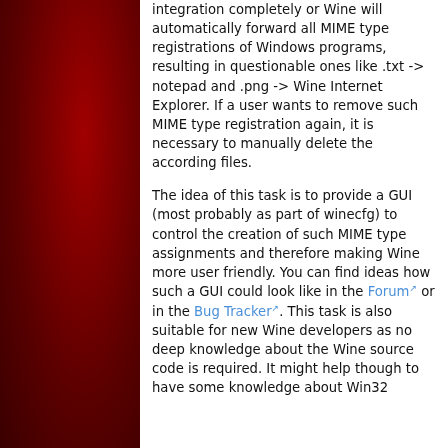[Figure (illustration): Wine logo: a white wine glass with red wine on a dark red background with subtle decorative dots/circles pattern]
integration completely or Wine will automatically forward all MIME type registrations of Windows programs, resulting in questionable ones like .txt -> notepad and .png -> Wine Internet Explorer. If a user wants to remove such MIME type registration again, it is necessary to manually delete the according files.
The idea of this task is to provide a GUI (most probably as part of winecfg) to control the creation of such MIME type assignments and therefore making Wine more user friendly. You can find ideas how such a GUI could look like in the Forum or in the Bug Tracker. This task is also suitable for new Wine developers as no deep knowledge about the Wine source code is required. It might help though to have some knowledge about Win32 ck...